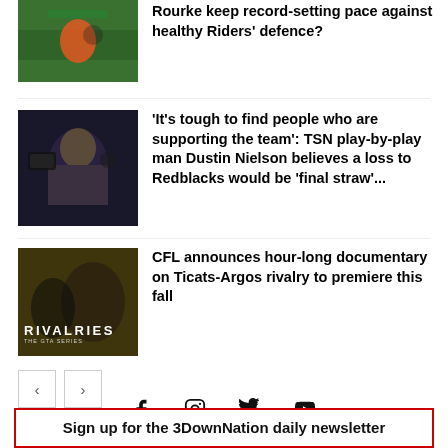[Figure (photo): Football player in green and orange uniform running on field]
Rourke keep record-setting pace against healthy Riders' defence?
[Figure (photo): Man with headset and sunglasses, sports broadcaster]
'It's tough to find people who are supporting the team': TSN play-by-play man Dustin Nielson believes a loss to Redblacks would be 'final straw'...
[Figure (photo): CFL Rivalries documentary promotional image with football players]
CFL announces hour-long documentary on Ticats-Argos rivalry to premiere this fall
< >
[Figure (infographic): Social media icons: Facebook, Instagram, Twitter, YouTube]
Sign up for the 3DownNation daily newsletter